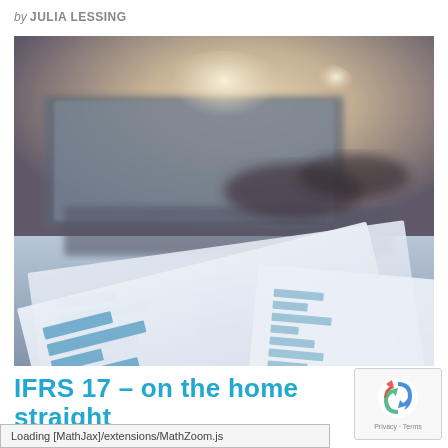by JULIA LESSING
[Figure (photo): Close-up photo of financial report papers with bar charts on a desk, with a laptop keyboard and hands visible in the blurred background. Warm backlight creates a soft bokeh effect.]
IFRS 17 – on the home straight
Loading [MathJax]/extensions/MathZoom.js